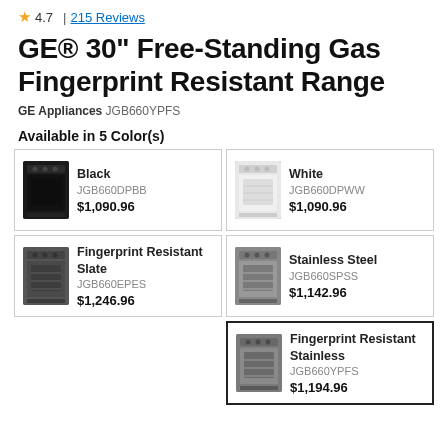4.7 | 215 Reviews
GE® 30" Free-Standing Gas Fingerprint Resistant Range
GE Appliances JGB660YPFS
Available in 5 Color(s)
| Image | Color | SKU | Price |
| --- | --- | --- | --- |
| [Black appliance] | Black | JGB660DPBB | $1,090.96 |
| [White appliance] | White | JGB660DPWW | $1,090.96 |
| [Slate appliance] | Fingerprint Resistant Slate | JGB660EPES | $1,246.96 |
| [Stainless Steel appliance] | Stainless Steel | JGB660SPSS | $1,142.96 |
| [FR Stainless appliance] | Fingerprint Resistant Stainless | JGB660YPFS | $1,194.96 |